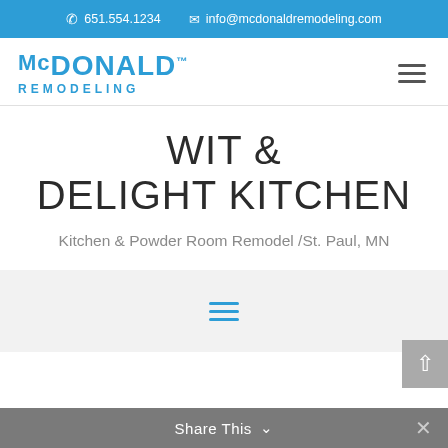651.554.1234   info@mcdonaldremodeling.com
[Figure (logo): McDonald Remodeling logo in blue text with hamburger menu icon]
WIT & DELIGHT KITCHEN
Kitchen & Powder Room Remodel /St. Paul, MN
[Figure (other): Blue hamburger/menu icon on light gray background]
Share This ∨  ×